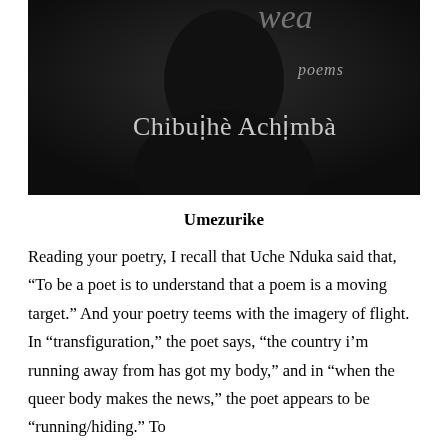[Figure (photo): Black and white photo of a person (partially visible), with text overlay reading 'poems' and 'Chibuìhè Achịmbà' in light/silver colored text on a dark background.]
Umezurike
Reading your poetry, I recall that Uche Nduka said that, “To be a poet is to understand that a poem is a moving target.” And your poetry teems with the imagery of flight. In “transfiguration,” the poet says, “the country i’m running away from has got my body,” and in “when the queer body makes the news,” the poet appears to be “running/hiding.” To